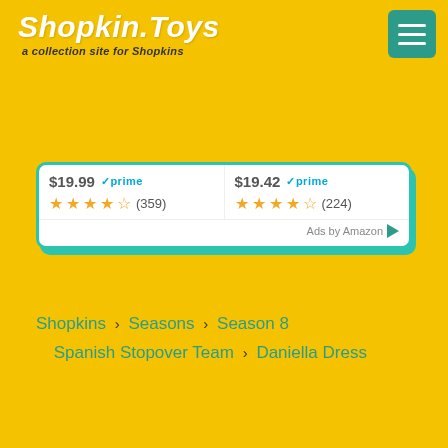Shopkin.Toys — a collection site for Shopkins
[Figure (screenshot): Amazon ad widget showing two products with prices ($19.99 and $19.42) with Prime badges, star ratings (359 reviews and 224 reviews), and 'Ads by Amazon' footer]
Shopkins › Seasons › Season 8 › Spanish Stopover Team › Daniella Dress